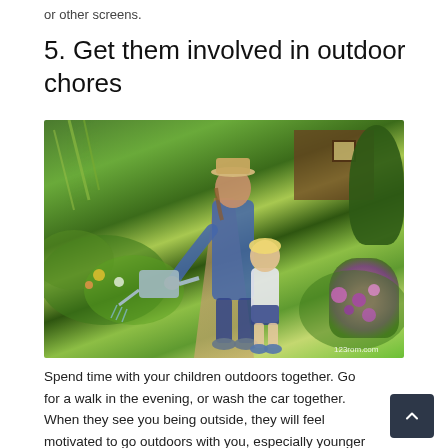or other screens.
5. Get them involved in outdoor chores
[Figure (photo): An adult wearing a hat and plaid shirt helps a young toddler water garden plants with a watering can. They are standing on a garden path surrounded by green plants and colorful flowers, with a wooden cabin in the background.]
Spend time with your children outdoors together. Go for a walk in the evening, or wash the car together. When they see you being outside, they will feel motivated to go outdoors with you, especially younger